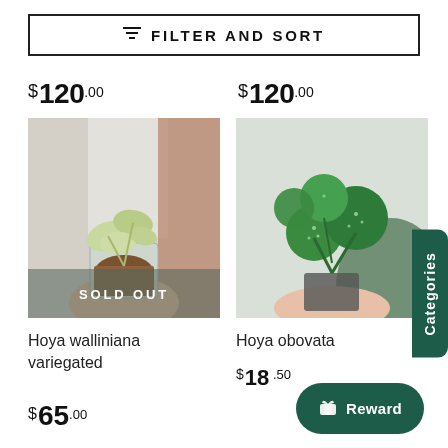FILTER AND SORT
$120.00
$120.00
[Figure (photo): Hand holding a small Hoya walliniana variegated plant in a clear cup with bark medium, with a SOLD OUT overlay]
[Figure (photo): Hand holding a Hoya obovata plant with large round green leaves with white speckles in a small pot]
Hoya walliniana variegated
$65.00
Hoya obovata
$18.50
Categories
Reward